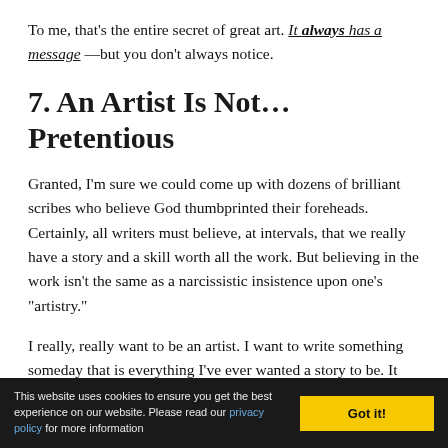To me, that’s the entire secret of great art. It always has a message—but you don’t always notice.
7. An Artist Is Not… Pretentious
Granted, I’m sure we could come up with dozens of brilliant scribes who believe God thumbprinted their foreheads. Certainly, all writers must believe, at intervals, that we really have a story and a skill worth all the work. But believing in the work isn’t the same as a narcissistic insistence upon one’s “artistry.”
I really, really want to be an artist. I want to write something someday that is everything I’ve ever wanted a story to be. It doesn’t have to be famous or even recognized. But I hope someday just to write it. That’s my goal. And I do everything I can every day to build my life around that artistic pursuit. In the
This website uses cookies to ensure you get the best experience on our website. Please read our privacy policy for more information   Got it!